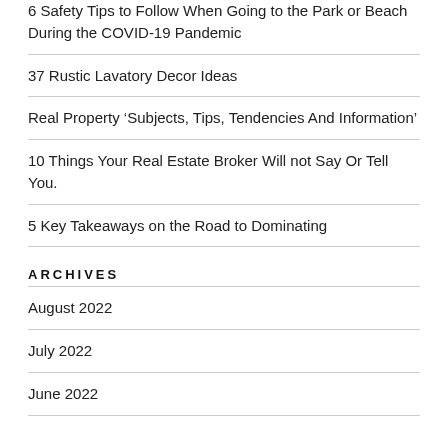6 Safety Tips to Follow When Going to the Park or Beach During the COVID-19 Pandemic
37 Rustic Lavatory Decor Ideas
Real Property ‘Subjects, Tips, Tendencies And Information’
10 Things Your Real Estate Broker Will not Say Or Tell You.
5 Key Takeaways on the Road to Dominating
ARCHIVES
August 2022
July 2022
June 2022